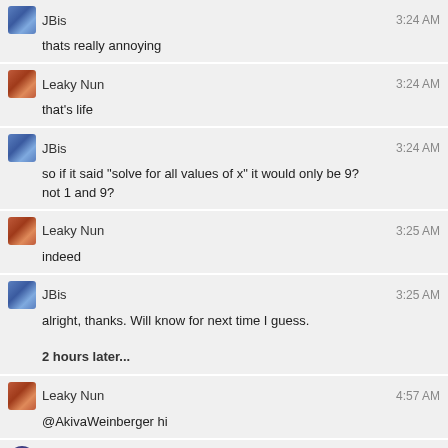JBis — 3:24 AM — thats really annoying
Leaky Nun — 3:24 AM — that's life
JBis — 3:24 AM — so if it said "solve for all values of x" it would only be 9?
not 1 and 9?
Leaky Nun — 3:25 AM — indeed
JBis — 3:25 AM — alright, thanks. Will know for next time I guess.
2 hours later...
Leaky Nun — 4:57 AM — @AkivaWeinberger hi
Akiva Weinberger — 5:05 AM — @Semiclassical Oh that's the company what invented post-its
Leaky Nun — 5:11 AM — this usage of "what" feels weird
"what" is followed by a predicate to make it a noun
I would say "that" / "which" here